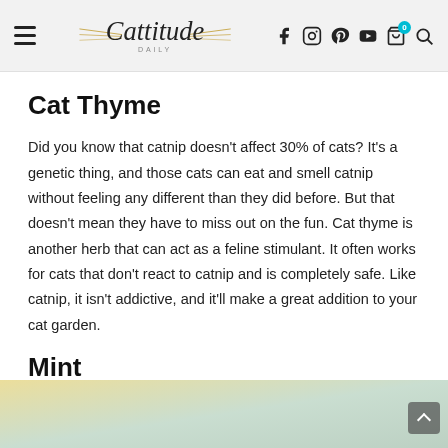Cattitude Daily — navigation header with hamburger menu, logo, and social/search icons
Cat Thyme
Did you know that catnip doesn't affect 30% of cats? It's a genetic thing, and those cats can eat and smell catnip without feeling any different than they did before. But that doesn't mean they have to miss out on the fun. Cat thyme is another herb that can act as a feline stimulant. It often works for cats that don't react to catnip and is completely safe. Like catnip, it isn't addictive, and it'll make a great addition to your cat garden.
Mint
[Figure (photo): Partial view of a cat or plant scene with light yellow and green/blue tones, partially visible at the bottom of the page]